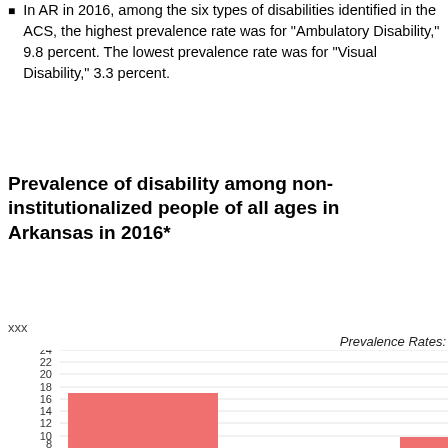In AR in 2016, among the six types of disabilities identified in the ACS, the highest prevalence rate was for "Ambulatory Disability," 9.8 percent. The lowest prevalence rate was for "Visual Disability," 3.3 percent.
Prevalence of disability among non-institutionalized people of all ages in Arkansas in 2016*
xxx
Prevalence Rates:
[Figure (bar-chart): Prevalence of disability among non-institutionalized people of all ages in Arkansas in 2016*]